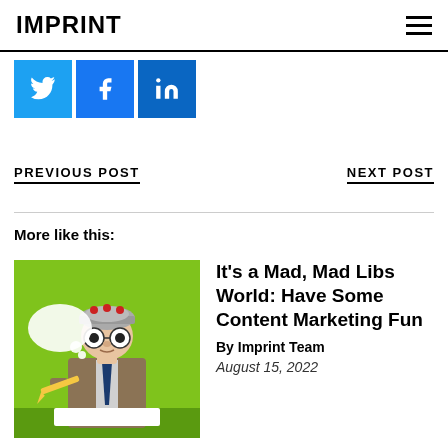IMPRINT
[Figure (infographic): Social share buttons: Twitter (light blue), Facebook (blue), LinkedIn (darker blue) with respective icons]
PREVIOUS POST
NEXT POST
More like this:
[Figure (illustration): Cartoon man in a suit wearing a metal helmet with a thought bubble, holding a pencil, on a green background]
It’s a Mad, Mad Libs World: Have Some Content Marketing Fun
By Imprint Team
August 15, 2022